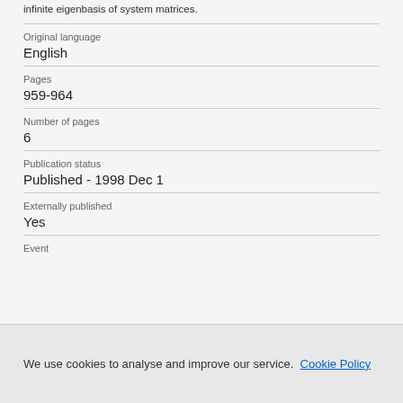infinite eigenbasis of system matrices.
Original language
English
Pages
959-964
Number of pages
6
Publication status
Published - 1998 Dec 1
Externally published
Yes
Event
We use cookies to analyse and improve our service. Cookie Policy